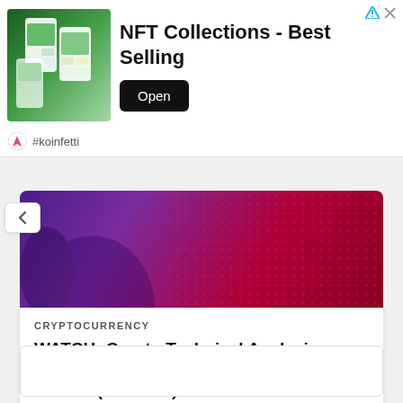[Figure (infographic): Advertisement banner for NFT Collections - Best Selling app by #koinfetti, showing mobile app screenshots with colorful nature images, an Open button, and close/arrow icons in the top right.]
NFT Collections - Best Selling
#koinfetti
[Figure (photo): Hero image for article showing a dark purple and red abstract background with dotted texture pattern, related to cryptocurrency.]
CRYPTOCURRENCY
WATCH: Crypto Technical Analysis August 23, 2022: Ethereum Versus Bitcoin (ETHBTC)
Businesshala  -  August 23, 2022
[Figure (infographic): Empty white advertisement placeholder box at bottom of page.]